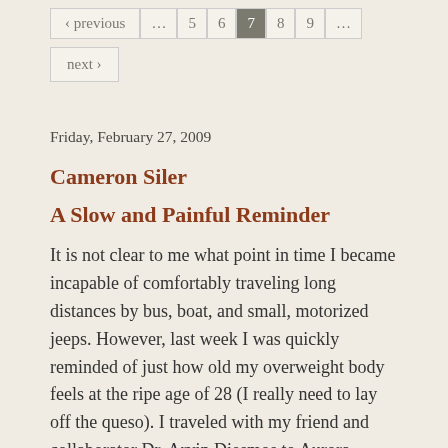« previous … 5 6 7 8 9 …
next »
Friday, February 27, 2009
Cameron Siler
A Slow and Painful Reminder
It is not clear to me what point in time I became incapable of comfortably traveling long distances by bus, boat, and small, motorized jeeps. However, last week I was quickly reminded of just how old my overweight body feels at the ripe age of 28 (I really need to lay off the queso). I traveled with my friend and collaborator Dr. Arvin Diesmos to Aurora Province on Luzon Island. We are setting up our next site for the large KU biodiversity expedition planned for May and